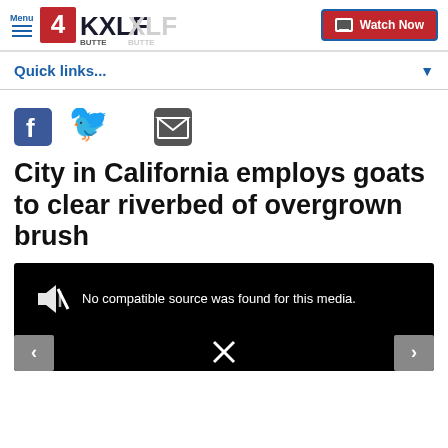Menu | 4KXLF BUTTE | Watch Now
Quick links...
[Figure (screenshot): Social share icons: Facebook, Twitter, Email]
City in California employs goats to clear riverbed of overgrown brush
[Figure (screenshot): Video media player showing error: No compatible source was found for this media.]